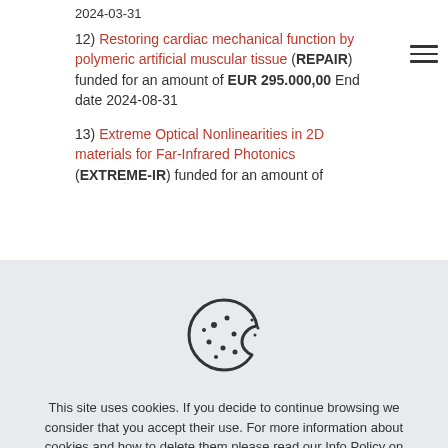2024-03-31
12) Restoring cardiac mechanical function by polymeric artificial muscular tissue (REPAIR) funded for an amount of EUR 295.000,00 End date 2024-08-31
13) Extreme Optical Nonlinearities in 2D materials for Far-Infrared Photonics (EXTREME-IR) funded for an amount of
[Figure (illustration): Cookie icon — a round cookie with a bite taken out and chocolate chip dots]
This site uses cookies. If you decide to continue browsing we consider that you accept their use. For more information about cookies and how to delete them please read our Info Policy on cookies use.
Read more
Accept all